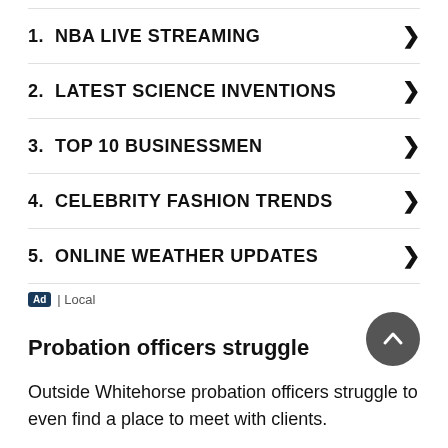1.  NBA LIVE STREAMING
2.  LATEST SCIENCE INVENTIONS
3.  TOP 10 BUSINESSMEN
4.  CELEBRITY FASHION TRENDS
5.  ONLINE WEATHER UPDATES
Ad | Local
Probation officers struggle
Outside Whitehorse probation officers struggle to even find a place to meet with clients.
“We spoke with senior management in the department who